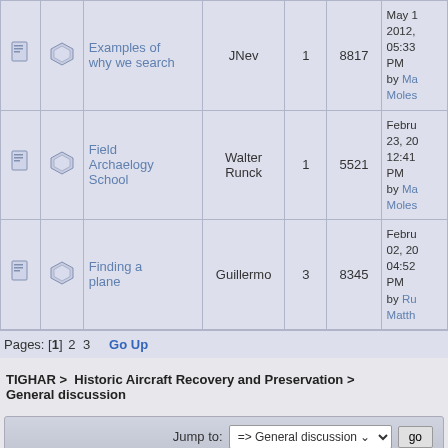|  |  | Topic | Started by | Replies | Views | Last post |
| --- | --- | --- | --- | --- | --- | --- |
| [doc] | [tag] | Examples of why we search | JNev | 1 | 8817 | May 1 2012, 05:33 PM by Ma Moles |
| [doc] | [tag] | Field Archaelogy School | Walter Runck | 1 | 5521 | Febru 23, 20 12:41 PM by Ma Moles |
| [doc] | [tag] | Finding a plane | Guillermo | 3 | 8345 | Febru 02, 20 04:52 PM by Ru Matth |
Pages: [1] 2 3   Go Up
TIGHAR > Historic Aircraft Recovery and Preservation > General discussion
Jump to: => General discussion  go
Normal Topic   Locked Topic